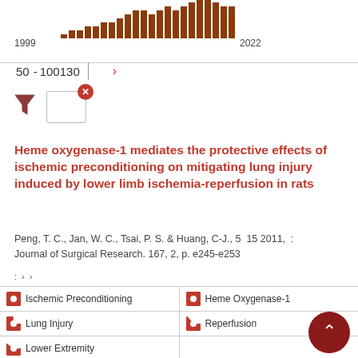[Figure (bar-chart): Publication timeline 1999–2022]
50 - 100130 ›
[Figure (other): Filter icon with active filter box and close (x) button]
Heme oxygenase-1 mediates the protective effects of ischemic preconditioning on mitigating lung injury induced by lower limb ischemia-reperfusion in rats
Peng, T. C., Jan, W. C., Tsai, P. S. & Huang, C-J., 5 15 2011, : Journal of Surgical Research. 167, 2, p. e245-e253
: › ›
| Ischemic Preconditioning | Heme Oxygenase-1 |
| Lung Injury | Reperfusion |
| Lower Extremity |  |